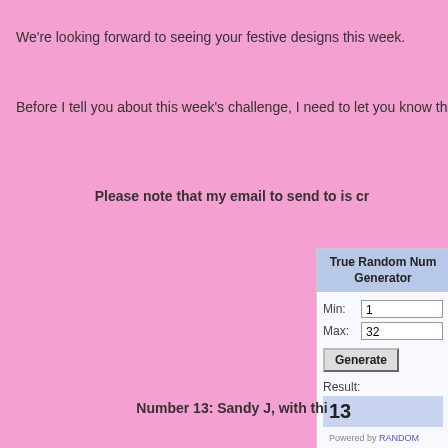We're looking forward to seeing your festive designs this week.
Before I tell you about this week's challenge, I need to let you know th
Please note that my email to send to is cr
[Figure (screenshot): True Random Number Generator widget showing Min: 1, Max: 32, Generate button, Result: 13, Powered by RANDOM.]
Number 13: Sandy J, with thi